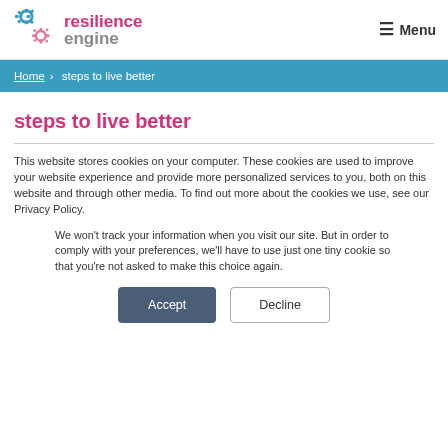resilience engine — Menu
Home › steps to live better
steps to live better
This website stores cookies on your computer. These cookies are used to improve your website experience and provide more personalized services to you, both on this website and through other media. To find out more about the cookies we use, see our Privacy Policy.
We won't track your information when you visit our site. But in order to comply with your preferences, we'll have to use just one tiny cookie so that you're not asked to make this choice again.
Accept   Decline